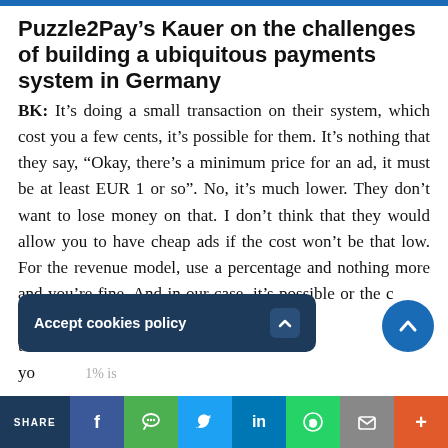Puzzle2Pay’s Kauer on the challenges of building a ubiquitous payments system in Germany
BK: It’s doing a small transaction on their system, which cost you a few cents, it’s possible for them. It’s nothing that they say, “Okay, there’s a minimum price for an ad, it must be at least EUR 1 or so”. No, it’s much lower. They don’t want to lose money on that. I don’t think that they would allow you to have cheap ads if the cost won’t be that low. For the revenue model, use a percentage and nothing more and you’re fine. And in our case, it’s possible or the cost is below giropay because the bar in the market and you 1% is the
[Figure (screenshot): Cookie accept banner overlay (dark blue rounded rectangle) with text 'Accept cookies policy' and a caret/chevron button, plus a circular scroll-to-top button (blue) with upward chevron]
[Figure (screenshot): Social share bar at bottom with icons: SHARE label, Facebook (f), WeChat, Twitter, LinkedIn, WhatsApp, Email, More (+)]